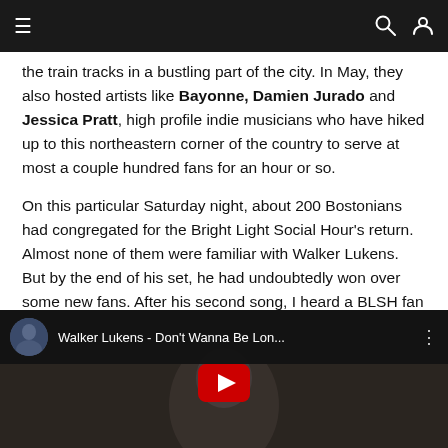Navigation bar with menu, search, and user icons
the train tracks in a bustling part of the city. In May, they also hosted artists like Bayonne, Damien Jurado and Jessica Pratt, high profile indie musicians who have hiked up to this northeastern corner of the country to serve at most a couple hundred fans for an hour or so.
On this particular Saturday night, about 200 Bostonians had congregated for the Bright Light Social Hour's return. Almost none of them were familiar with Walker Lukens. But by the end of his set, he had undoubtedly won over some new fans. After his second song, I heard a BLSH fan behind me remark, "Wow! They got a really good opener this time!"
[Figure (screenshot): YouTube video embed thumbnail for 'Walker Lukens - Don't Wanna Be Lon...' showing a person with glasses and dark hair, with a red YouTube play button in the center.]